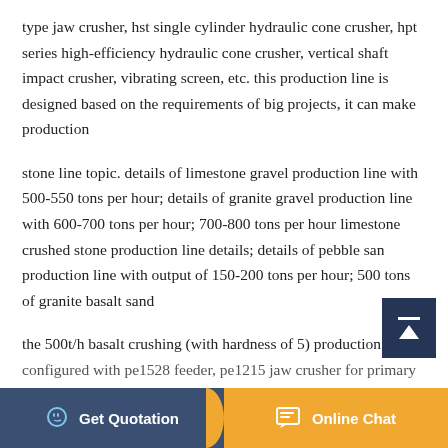type jaw crusher, hst single cylinder hydraulic cone crusher, hpt series high-efficiency hydraulic cone crusher, vertical shaft impact crusher, vibrating screen, etc. this production line is designed based on the requirements of big projects, it can make production
stone line topic. details of limestone gravel production line with 500-550 tons per hour; details of granite gravel production line with 600-700 tons per hour; 700-800 tons per hour limestone crushed stone production line details; details of pebble sand production line with output of 150-200 tons per hour; 500 tons of granite basalt sand
the 500t/h basalt crushing (with hardness of 5) production line is configured with pe1528 feeder, pe1215 jaw crusher for primary...
[Figure (other): Scroll-to-top button (dark blue square with upward arrow icon)]
[Figure (other): Bottom navigation bar with two buttons: 'Get Quotation' on dark blue left half and 'Online Chat' on golden-yellow right half, separated by a curved divider]